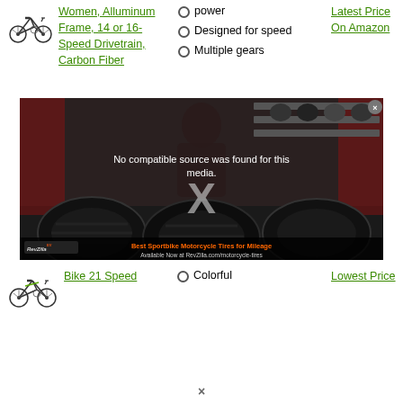[Figure (illustration): Road bicycle illustration, top left]
Women, Alluminum Frame, 14 or 16-Speed Drivetrain, Carbon Fiber
power
Designed for speed
Multiple gears
Latest Price On Amazon
[Figure (screenshot): Video player overlay showing 'No compatible source was found for this media.' with a large X and an advertisement for Best Sportbike Motorcycle Tires for Mileage from RevZilla.com]
[Figure (illustration): Road bicycle illustration, bottom left]
Bike 21 Speed
Colorful
Lowest Price